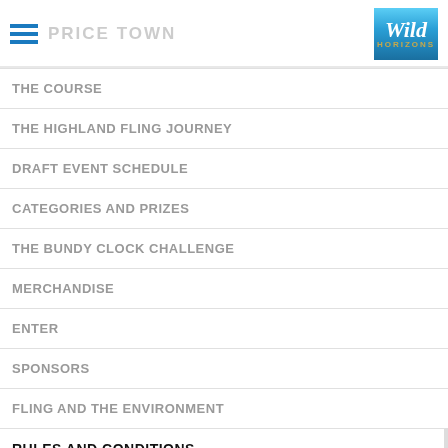PRICE TOWN / Wild Horizons
THE COURSE
THE HIGHLAND FLING JOURNEY
DRAFT EVENT SCHEDULE
CATEGORIES AND PRIZES
THE BUNDY CLOCK CHALLENGE
MERCHANDISE
ENTER
SPONSORS
FLING AND THE ENVIRONMENT
RULES AND CONDITIONS
RIDER SUPPORT AND FEEDING